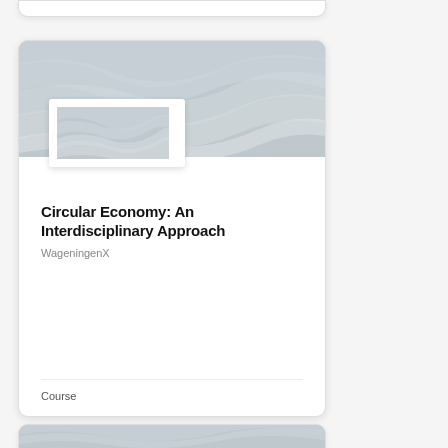[Figure (screenshot): Top portion of a course card with rounded corners, partially visible at the top of the page]
[Figure (illustration): Course card for 'Circular Economy: An Interdisciplinary Approach' by WageningenX. Card has a grey topographic wavy background image at top, with a white-framed thumbnail image overlapping the bottom of the hero area. Below: title in bold black, provider name in grey, large white space, and 'Course' label at the bottom.]
Circular Economy: An Interdisciplinary Approach
WageningenX
Course
[Figure (illustration): Bottom stub of a third course card, showing just the top edge with grey topographic hero image, partially visible at the very bottom of the page]